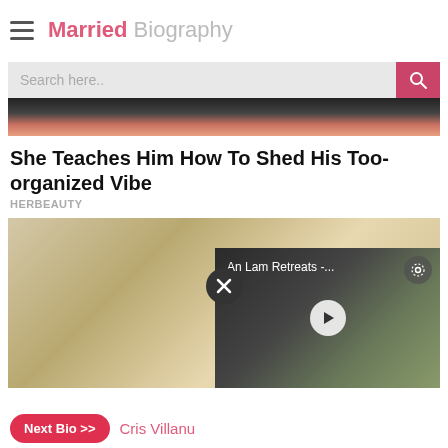Married Biography
[Figure (screenshot): Search bar with pink search button]
[Figure (photo): Top image strip showing hands/skin tones]
She Teaches Him How To Shed His Too-organized Vibe
HERBEAUTY
[Figure (photo): Main image showing fingers holding a plant stem, with a close button overlay and a video panel overlay showing 'An Lam Retreats -...' with a play button]
Next Bio >> Cris Villanu